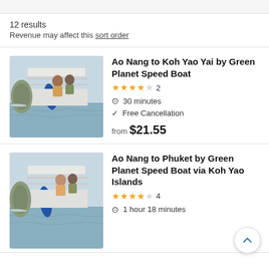12 results
Revenue may affect this sort order
[Figure (photo): Speed boat on water with passengers and limestone karst islands in background]
Ao Nang to Koh Yao Yai by Green Planet Speed Boat
★★★★☆ 2
⏱ 30 minutes
✓ Free Cancellation
from $21.55
[Figure (photo): Speed boat on water with passengers and limestone karst islands in background]
Ao Nang to Phuket by Green Planet Speed Boat via Koh Yao Islands
★★★★☆ 4
⏱ 1 hour 18 minutes